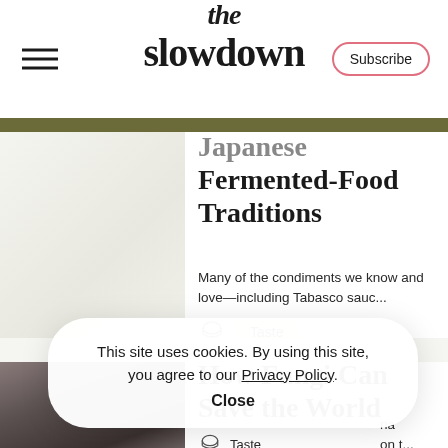the slowdown — Subscribe
Japanese Fermented-Food Traditions
Many of the condiments we know and love—including Tabasco sauc...
Taste
How Fungi Can Save the World
na on t...
Taste
This site uses cookies. By using this site, you agree to our Privacy Policy.
Close